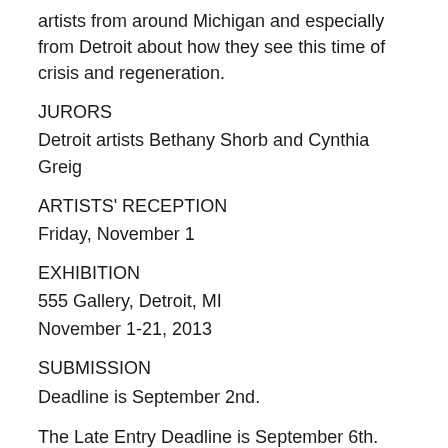artists from around Michigan and especially from Detroit about how they see this time of crisis and regeneration.
JURORS
Detroit artists Bethany Shorb and Cynthia Greig
ARTISTS' RECEPTION
Friday, November 1
EXHIBITION
555 Gallery, Detroit, MI
November 1-21, 2013
SUBMISSION
Deadline is September 2nd.
The Late Entry Deadline is September 6th.
To Enter: